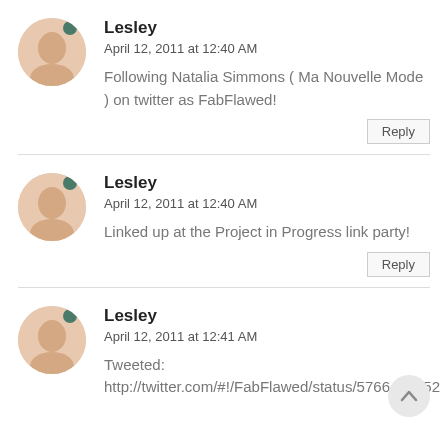Lesley
April 12, 2011 at 12:40 AM
Following Natalia Simmons ( Ma Nouvelle Mode ) on twitter as FabFlawed!
Lesley
April 12, 2011 at 12:40 AM
Linked up at the Project in Progress link party!
Lesley
April 12, 2011 at 12:41 AM
Tweeted:
http://twitter.com/#!/FabFlawed/status/5766456952